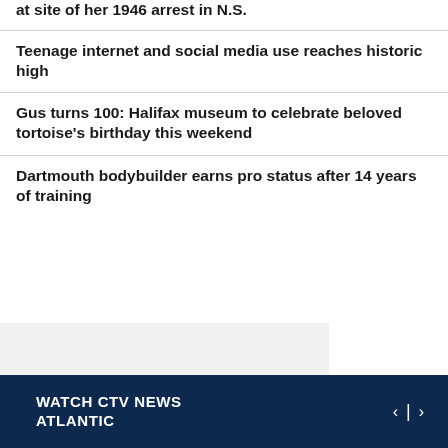Civil rights pioneer Viola Desmond commemorated at site of her 1946 arrest in N.S.
Teenage internet and social media use reaches historic high
Gus turns 100: Halifax museum to celebrate beloved tortoise's birthday this weekend
Dartmouth bodybuilder earns pro status after 14 years of training
WATCH CTV NEWS ATLANTIC